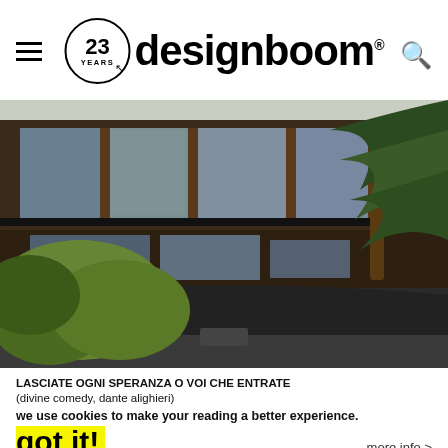office gallery with tsubo niwa garden
[Figure (logo): designboom logo with 23 years circle badge and hamburger menu and search icon]
[Figure (photo): Japanese-style building exterior with wooden frames, large glass windows, dark tiled roof, green pine tree branches in foreground]
LASCIATE OGNI SPERANZA O VOI CHE ENTRATE
(divine comedy, dante alighieri)
we use cookies to make your reading a better experience.
got it!
more info >